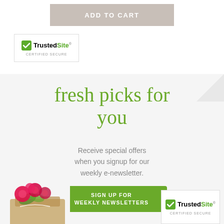ADD TO CART
[Figure (logo): TrustedSite Certified Secure badge - top left]
fresh picks for you
Receive special offers when you signup for our weekly e-newsletter.
SIGN UP FOR WEEKLY NEWSLETTERS
[Figure (photo): Bouquet of pink/red flowers wrapped in kraft paper, bottom left]
[Figure (logo): TrustedSite Certified Secure badge - bottom right]